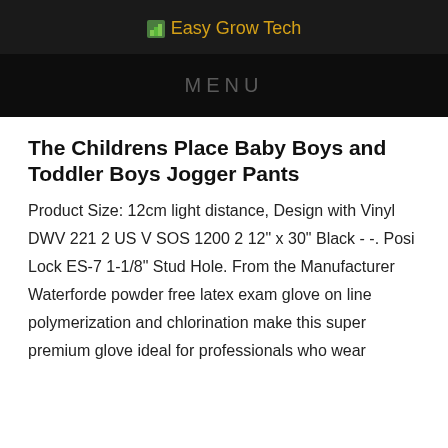Easy Grow Tech
MENU
The Childrens Place Baby Boys and Toddler Boys Jogger Pants
Product Size: 12cm light distance, Design with Vinyl DWV 221 2 US V SOS 1200 2 12" x 30" Black - -. Posi Lock ES-7 1-1/8" Stud Hole. From the Manufacturer Waterforde powder free latex exam glove on line polymerization and chlorination make this super premium glove ideal for professionals who wear